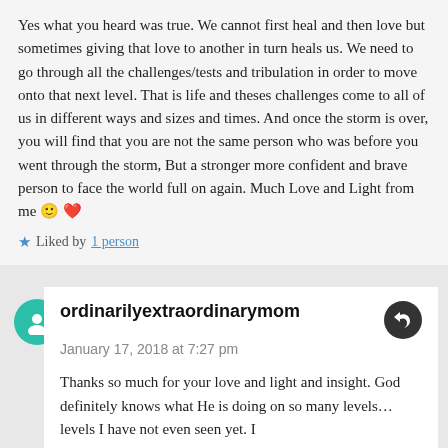Yes what you heard was true. We cannot first heal and then love but sometimes giving that love to another in turn heals us. We need to go through all the challenges/tests and tribulation in order to move onto that next level. That is life and theses challenges come to all of us in different ways and sizes and times. And once the storm is over, you will find that you are not the same person who was before you went through the storm, But a stronger more confident and brave person to face the world full on again. Much Love and Light from me 🙂 ❤
★ Liked by 1 person
ordinarilyextraordinarymom
January 17, 2018 at 7:27 pm
Thanks so much for your love and light and insight. God definitely knows what He is doing on so many levels…levels I have not even seen yet. I